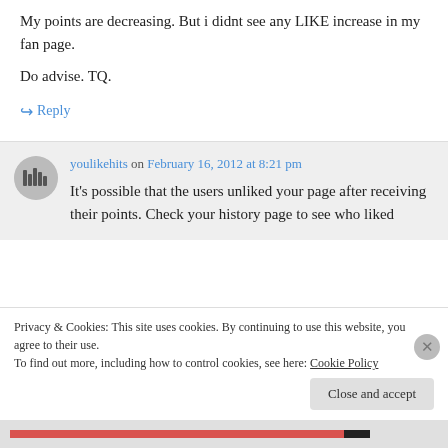My points are decreasing. But i didnt see any LIKE increase in my fan page.

Do advise. TQ.
↪ Reply
youlikehits on February 16, 2012 at 8:21 pm
It's possible that the users unliked your page after receiving their points. Check your history page to see who liked
Privacy & Cookies: This site uses cookies. By continuing to use this website, you agree to their use.
To find out more, including how to control cookies, see here: Cookie Policy
Close and accept